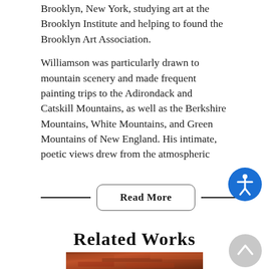Brooklyn, New York, studying art at the Brooklyn Institute and helping to found the Brooklyn Art Association.
Williamson was particularly drawn to mountain scenery and made frequent painting trips to the Adirondack and Catskill Mountains, as well as the Berkshire Mountains, White Mountains, and Green Mountains of New England. His intimate, poetic views drew from the atmospheric
Read More
Related Works
[Figure (photo): Partial view of a painting showing reddish-brown tones, visible at the bottom of the page.]